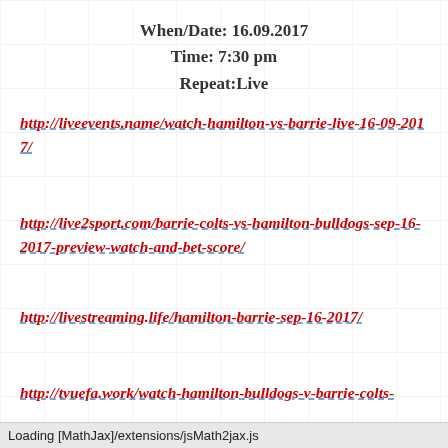When/Date: 16.09.2017
Time: 7:30 pm
Repeat:Live
http://liveevents.name/watch-hamilton-vs-barrie-live-16-09-2017/
http://live2sport.com/barrie-colts-vs-hamilton-bulldogs-sep-16-2017-preview-watch-and-bet-score/
http://livestreaming.life/hamilton-barrie-sep-16-2017/
http://tvuefa.work/watch-hamilton-bulldogs-v-barrie-colts-
Loading [MathJax]/extensions/jsMath2jax.js